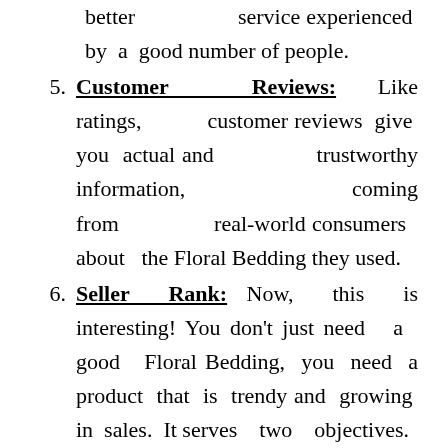better service experienced by a good number of people.
Customer Reviews: Like ratings, customer reviews give you actual and trustworthy information, coming from real-world consumers about the Floral Bedding they used.
Seller Rank: Now, this is interesting! You don't just need a good Floral Bedding, you need a product that is trendy and growing in sales. It serves two objectives.